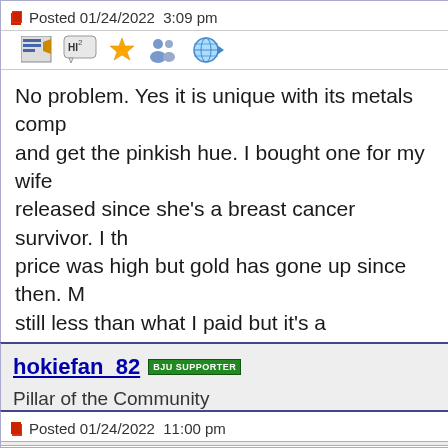Posted 01/24/2022  3:09 pm
[Figure (illustration): Forum toolbar icons: reply, HI greeting, star, users, globe/arrow]
No problem. Yes it is unique with its metals comp and get the pinkish hue. I bought one for my wife released since she's a breast cancer survivor. I th price was high but gold has gone up since then. M still less than what I paid but it's a collectable.
Edited by livingwater
01/24/2022 3:21 pm
Report
hokiefan_82  BJU SUPPORTER  Pillar of the Community
United States   1012 Posts
Posted 01/24/2022  11:00 pm